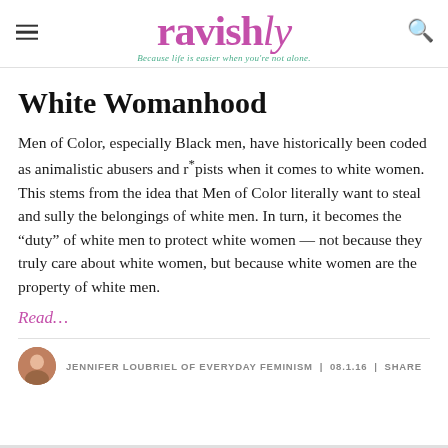ravishly — Because life is easier when you're not alone.
White Womanhood
Men of Color, especially Black men, have historically been coded as animalistic abusers and r*pists when it comes to white women. This stems from the idea that Men of Color literally want to steal and sully the belongings of white men. In turn, it becomes the “duty” of white men to protect white women — not because they truly care about white women, but because white women are the property of white men.
Read…
JENNIFER LOUBRIEL OF EVERYDAY FEMINISM | 08.1.16 | SHARE